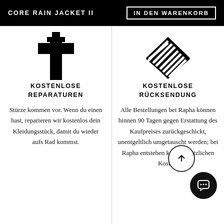CORE RAIN JACKET II | IN DEN WARENKORB
[Figure (logo): Black cross/plus shape icon representing repair]
KOSTENLOSE REPARATUREN
Stürze kommen vor. Wenn du einen hast, reparieren wir kostenlos dein Kleidungsstück, damit du wieder aufs Rad kommst.
[Figure (logo): Black chevron/arrow geometric logo representing Rapha brand]
KOSTENLOSE RÜCKSENDUNG
Alle Bestellungen bei Rapha können binnen 90 Tagen gegen Erstattung des Kaufpreises zurückgeschickt, unentgeltlich umgetauscht werden; bei Rapha entstehen keine zusätzlichen Kosten.